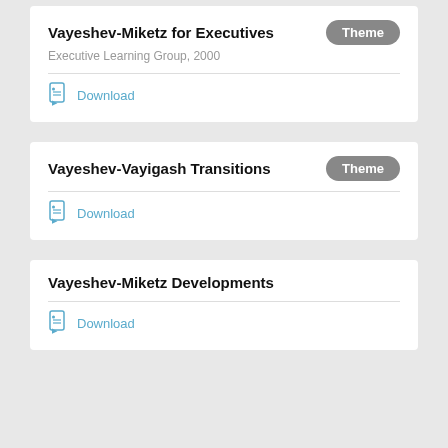Vayeshev-Miketz for Executives
Executive Learning Group, 2000
Download
Vayeshev-Vayigash Transitions
Download
Vayeshev-Miketz Developments
Download